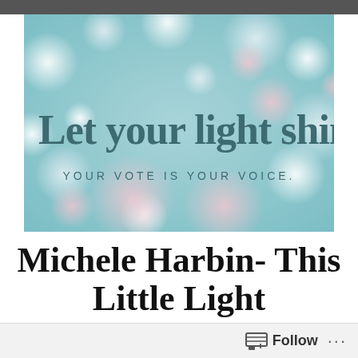[Figure (illustration): Light blue bokeh background image with white and pink circular bokeh circles. Large dark teal serif text reads 'Let your light shine.' Smaller spaced-out text below reads 'YOUR VOTE IS YOUR VOICE.']
Michele Harbin- This Little Light
Let Your Light Shine
Follow ...